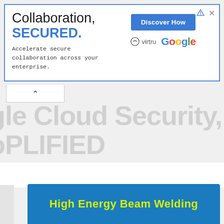[Figure (screenshot): Advertisement banner: 'Collaboration, SECURED.' with Virtru and Google logos and a 'Discover How' button]
...Cloud Security, ...PLIFIED
[Figure (screenshot): High Energy Beam Welding section header card with yellow text on blue background]